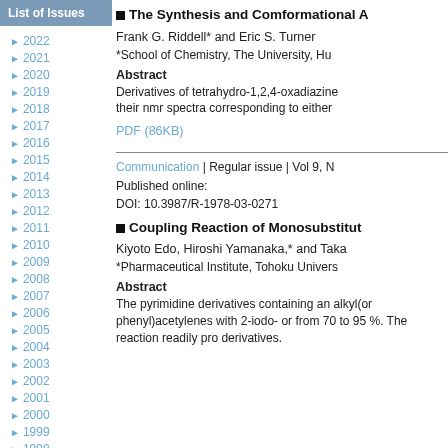List of Issues
2022
2021
2020
2019
2018
2017
2016
2015
2014
2013
2012
2011
2010
2009
2008
2007
2006
2005
2004
2003
2002
2001
2000
1999
1998
1997
1996
■ The Synthesis and Comformational A
Frank G. Riddell* and Eric S. Turner
*School of Chemistry, The University, Hu
Abstract
Derivatives of tetrahydro-1,2,4-oxadiazine their nmr spectra corresponding to either
PDF (86KB)
Communication | Regular issue | Vol 9, N
Published online:
DOI: 10.3987/R-1978-03-0271
■ Coupling Reaction of Monosubstitut
Kiyoto Edo, Hiroshi Yamanaka,* and Taka
*Pharmaceutical Institute, Tohoku Univers
Abstract
The pyrimidine derivatives containing an alkyl(or phenyl)acetylenes with 2-iodo- or from 70 to 95 %. The reaction readily pro derivatives.